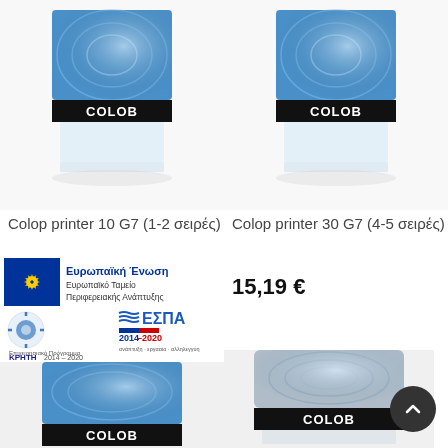[Figure (photo): Colop printer 10 G7 stamp product photo - top left]
[Figure (photo): Colop printer 30 G7 stamp product photo - top right]
Colop printer 10 G7 (1-2 σειρές)
[Figure (logo): Ευρωπαϊκή Ένωση / Ευρωπαϊκό Ταμείο Περιφερειακής Ανάπτυξης logo]
[Figure (logo): Επιχειρησιακό Πρόγραμμα ΚΡΗΤΗ 2014-2020 and ΕΣΠΑ 2014-2020 logos]
[Figure (photo): Colop stamp product photo - bottom left]
Colop printer 30 G7 (4-5 σειρές)
15,19 €
[Figure (photo): Colop stamp product photo - bottom right]